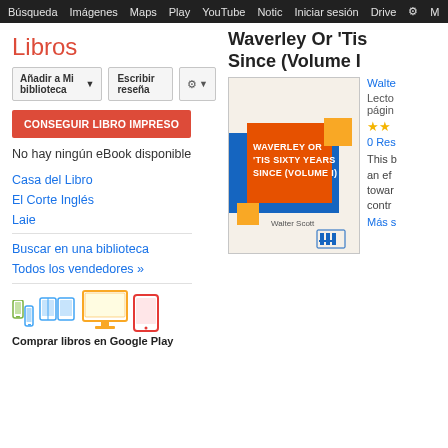Búsqueda  Imágenes  Maps  Play  YouTube  Noticias  Iniciar sesión  Drive  M  ⚙
Libros
Añadir a Mi biblioteca ▼   Escribir reseña   ⚙ ▼
CONSEGUIR LIBRO IMPRESO
No hay ningún eBook disponible
Casa del Libro
El Corte Inglés
Laie
Buscar en una biblioteca
Todos los vendedores »
[Figure (illustration): Device icons: phone, tablet, laptop/book, monitor, e-reader in green, blue, yellow, red colors]
Comprar libros en Google Play
Waverley Or 'Tis Since (Volume I)
[Figure (illustration): Book cover: Waverley Or 'Tis Sixty Years Since (Volume I) by Walter Scott, with orange, blue and yellow geometric design]
Walte
Lecto páginas
★★
0 Res
This b an ef towar contr
Más s